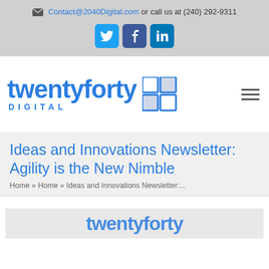Contact@2040Digital.com or call us at (240) 292-9311
[Figure (logo): Social media icons: Twitter, Facebook, LinkedIn buttons in blue]
[Figure (logo): twentyforty DIGITAL logo with grid icon and hamburger menu icon]
Ideas and Innovations Newsletter: Agility is the New Nimble
Home » Home » Ideas and Innovations Newsletter:...